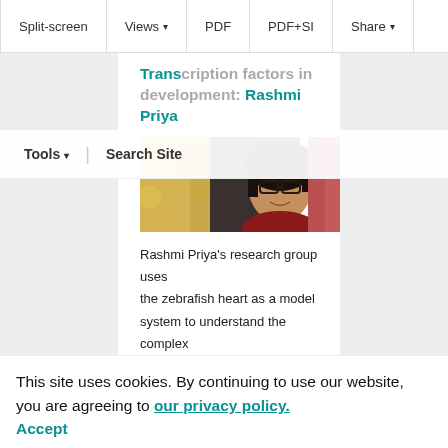Split-screen | Views ▾ | PDF | PDF+SI | Share ▾
Tools ▾ | Search Site
Transcription factors in development: Rashmi Priya
[Figure (photo): Portrait photo of Rashmi Priya, a woman with short dark hair and glasses, wearing a red top, smiling outdoors with yellow flowers in the background.]
Rashmi Priya's research group uses the zebrafish heart as a model system to understand the complex morphogenetic events of organogenesis. We interviewed Rashmi to learn about her career path so far, and to discuss the challenges of starting a lab in the middle of a
This site uses cookies. By continuing to use our website, you are agreeing to our privacy policy. Accept